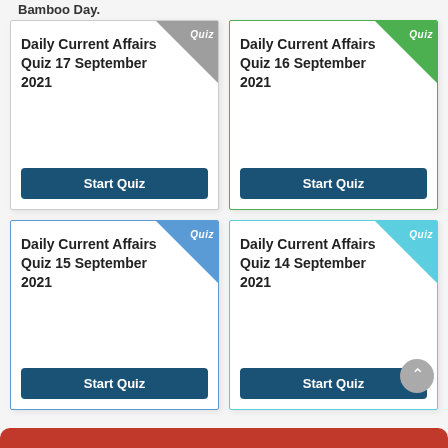Bamboo Day.
[Figure (screenshot): Card for Daily Current Affairs Quiz 17 September 2021 with grey Quiz badge and Start Quiz button]
[Figure (screenshot): Card for Daily Current Affairs Quiz 16 September 2021 with green Quiz badge and Start Quiz button]
[Figure (screenshot): Card for Daily Current Affairs Quiz 15 September 2021 with blue Quiz badge and Start Quiz button]
[Figure (screenshot): Card for Daily Current Affairs Quiz 14 September 2021 with cyan Quiz badge and Start Quiz button]